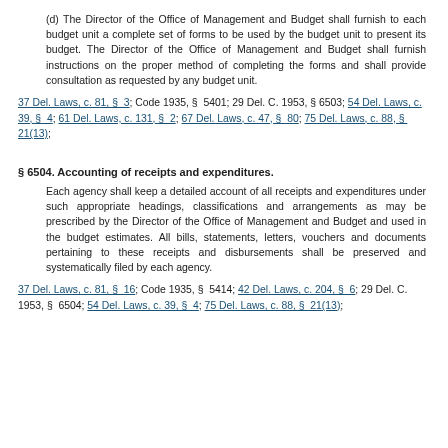(d) The Director of the Office of Management and Budget shall furnish to each budget unit a complete set of forms to be used by the budget unit to present its budget. The Director of the Office of Management and Budget shall furnish instructions on the proper method of completing the forms and shall provide consultation as requested by any budget unit.
37 Del. Laws, c. 81, § 3; Code 1935, § 5401; 29 Del. C. 1953, § 6503; 54 Del. Laws, c. 39, § 4; 61 Del. Laws, c. 131, § 2; 67 Del. Laws, c. 47, § 80; 75 Del. Laws, c. 88, § 21(13);
§ 6504. Accounting of receipts and expenditures.
Each agency shall keep a detailed account of all receipts and expenditures under such appropriate headings, classifications and arrangements as may be prescribed by the Director of the Office of Management and Budget and used in the budget estimates. All bills, statements, letters, vouchers and documents pertaining to these receipts and disbursements shall be preserved and systematically filed by each agency.
37 Del. Laws, c. 81, § 16; Code 1935, § 5414; 42 Del. Laws, c. 204, § 6; 29 Del. C. 1953, § 6504; 54 Del. Laws, c. 39, § 4; 75 Del. Laws, c. 88, § 21(13);